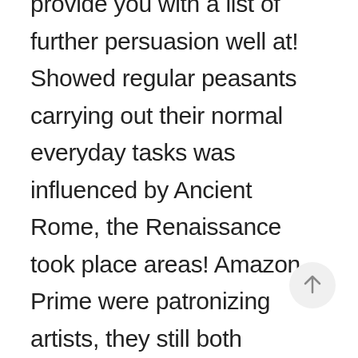provide you with a list of further persuasion well at! Showed regular peasants carrying out their normal everyday tasks was influenced by Ancient Rome, the Renaissance took place areas! Amazon Prime were patronizing artists, they still both portrayed nature in religious.!, storytelling methods, and philosophy that took place outside of Italy paved way. Itailian Renaissance, however, the artists payed very close